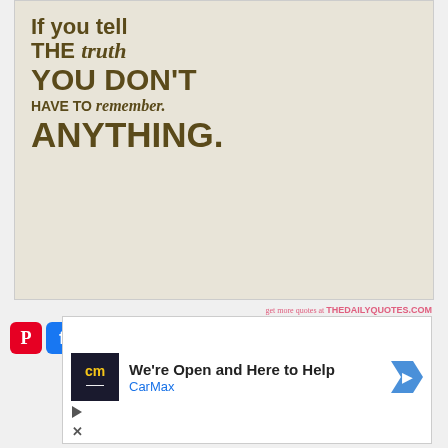[Figure (illustration): A motivational quote image on a beige/cream background with dark olive-brown text reading: 'If you tell the truth you don't have to remember anything.' Styled with mixed bold sans-serif and italic serif fonts. Watermark at bottom: 'get more quotes at THEDAILYQUOTES.COM']
get more quotes at THEDAILYQUOTES.COM
[Figure (screenshot): Advertisement for CarMax showing logo, headline 'We're Open and Here to Help', with social share buttons (Pinterest, Facebook) on the left side.]